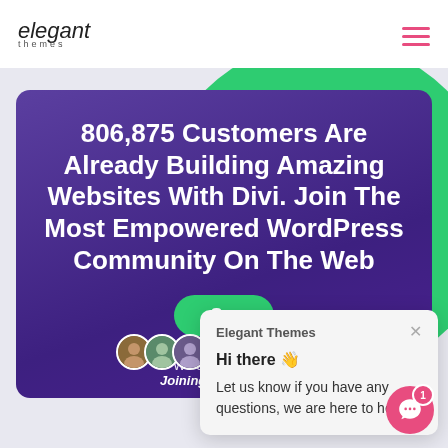elegant themes
[Figure (screenshot): Elegant Themes website hero section with purple gradient card showing headline about 806,875 customers building websites with Divi, green CTA button, and an overlaid chat popup from Elegant Themes saying 'Hi there 👋 Let us know if you have any questions, we are here to help.']
806,875 Customers Are Already Building Amazing Websites With Divi. Join The Most Empowered WordPress Community On The Web
We offer a 30 D...
Joining is Risk-Free!
Elegant Themes
Hi there 👋
Let us know if you have any questions, we are here to help.